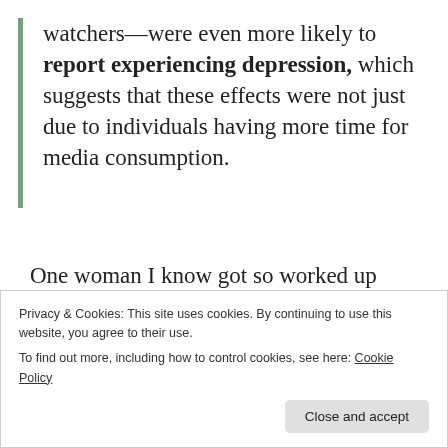watchers—were even more likely to report experiencing depression, which suggests that these effects were not just due to individuals having more time for media consumption.
One woman I know got so worked up reading/watching articles and news reports about the Catholic Priest Scandals that she spent a week weeping and is now undergoing
Privacy & Cookies: This site uses cookies. By continuing to use this website, you agree to their use.
To find out more, including how to control cookies, see here: Cookie Policy